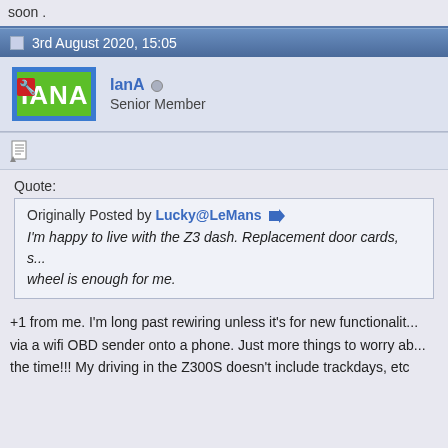soon .
3rd August 2020, 15:05
[Figure (logo): IanA forum avatar - green background with wrench icon and IANA text in blue border]
IanA  Senior Member
Quote:
Originally Posted by Lucky@LeMans
I'm happy to live with the Z3 dash. Replacement door cards, s... wheel is enough for me.
+1 from me. I'm long past rewiring unless it's for new functionalit... via a wifi OBD sender onto a phone. Just more things to worry ab... the time!!! My driving in the Z300S doesn't include trackdays, etc